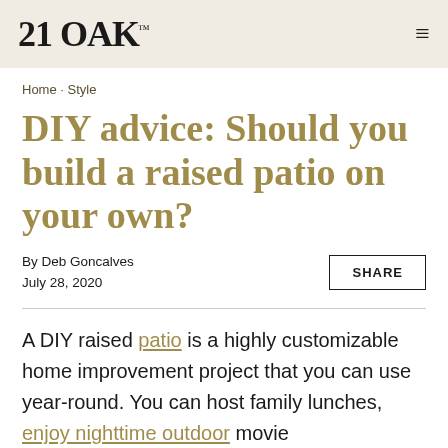21 OAK
Home · Style
DIY advice: Should you build a raised patio on your own?
By Deb Goncalves
July 28, 2020
A DIY raised patio is a highly customizable home improvement project that you can use year-round. You can host family lunches, enjoy nighttime outdoor movie